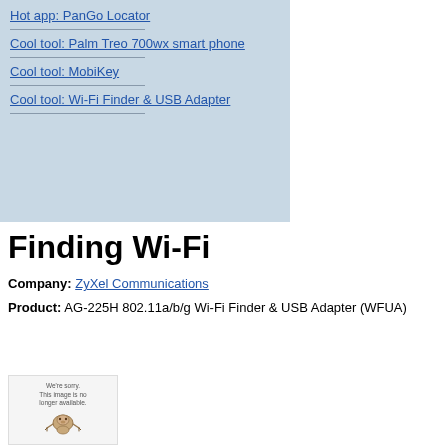Hot app: PanGo Locator
Cool tool: Palm Treo 700wx smart phone
Cool tool: MobiKey
Cool tool: Wi-Fi Finder & USB Adapter
Finding Wi-Fi
Company: ZyXel Communications
Product: AG-225H 802.11a/b/g Wi-Fi Finder & USB Adapter (WFUA)
[Figure (photo): We're sorry. This image is no longer available. Sloth placeholder image.]